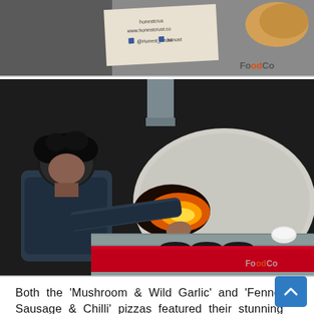[Figure (photo): Top portion of a photo showing a sign for Honest Crust pizza with website www.honestcrust.co and social media handles @Honest_Crust, along with what appears to be bread/buns and a FoodCo watermark]
[Figure (photo): A person with dark curly hair loading a pizza into a large wood-fired oven with an open flame visible inside. The oven has a rounded dome shape in grey/white, sits on a red base, and there is a metal chimney pipe above. A small white bowl is visible on the right side. FoodCo watermark in bottom right.]
Both the 'Mushroom & Wild Garlic' and 'Fennel Sausage & Chilli' pizzas featured their stunning sourdough base, cooked as perfectly as ever in the wood fire oven. Mushroom and wild garlic is a great combination which I loved, I also enjoyed the fennel